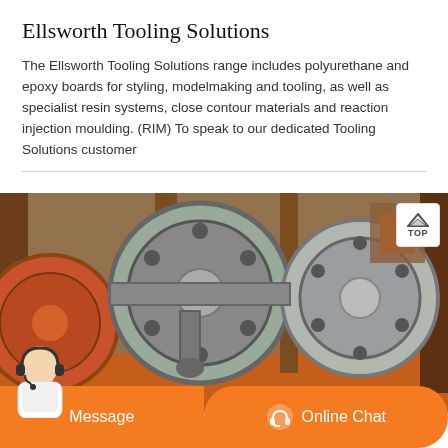Ellsworth Tooling Solutions
The Ellsworth Tooling Solutions range includes polyurethane and epoxy boards for styling, modelmaking and tooling, as well as specialist resin systems, close contour materials and reaction injection moulding. (RIM) To speak to our dedicated Tooling Solutions customer
[Figure (photo): Industrial machinery with large cast metal flywheels and mechanical components, photographed in a workshop or factory setting with orange and brown metal structures visible.]
Message   Online Chat